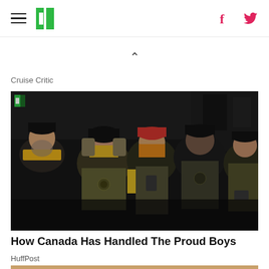HuffPost navigation header with hamburger menu, logo, Facebook and Twitter icons
Cruise Critic
[Figure (photo): Group of Proud Boys members wearing black and yellow clothing, tactical vests and helmets, gathered together at what appears to be a rally or demonstration]
How Canada Has Handled The Proud Boys
HuffPost
[Figure (photo): Partial view of next article image showing golden/bronze colored objects, cropped at bottom of page]